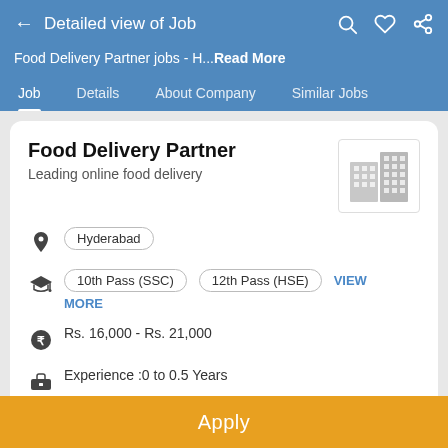Detailed view of Job
Food Delivery Partner jobs - H... Read More
Job | Details | About Company | Similar Jobs
Food Delivery Partner
Leading online food delivery
Hyderabad
10th Pass (SSC)   12th Pass (HSE)   VIEW MORE
Rs. 16,000 - Rs. 21,000
Experience :0 to 0.5 Years
Apply